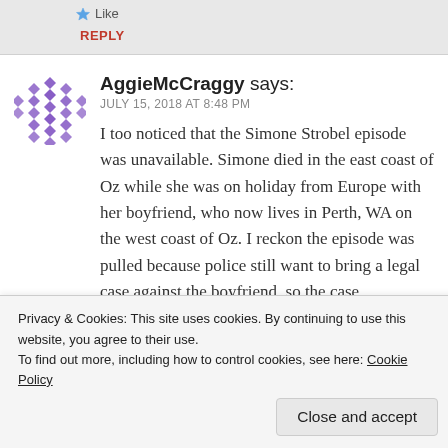Like
REPLY
AggieMcCraggy says:
JULY 15, 2018 AT 8:48 PM
I too noticed that the Simone Strobel episode was unavailable. Simone died in the east coast of Oz while she was on holiday from Europe with her boyfriend, who now lives in Perth, WA on the west coast of Oz. I reckon the episode was pulled because police still want to bring a legal case against the boyfriend, so the case
Privacy & Cookies: This site uses cookies. By continuing to use this website, you agree to their use.
To find out more, including how to control cookies, see here: Cookie Policy
Close and accept